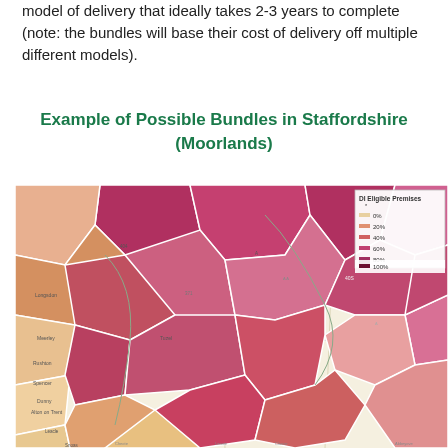model of delivery that ideally takes 2-3 years to complete (note: the bundles will base their cost of delivery off multiple different models).
Example of Possible Bundles in Staffordshire (Moorlands)
[Figure (map): A choropleth map showing possible broadband delivery bundles in Staffordshire Moorlands. Regions (Voronoi-style polygons) are shaded from light orange to dark red/maroon based on the percentage of DI Eligible Premises, ranging from 0% to 100%. A legend in the upper right shows the color scale: 0% (lightest), 20%, 40%, 60%, 80%, 100% (darkest). The map shows road networks and place names overlaid on the colored regions.]